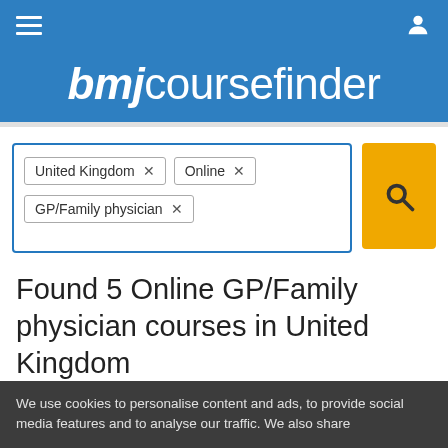bmjcoursefinder
[Figure (screenshot): Search bar with filter tags: United Kingdom ×, Online ×, GP/Family physician ×, and a yellow search button with magnifying glass icon]
Found 5 Online GP/Family physician courses in United Kingdom
We use cookies to personalise content and ads, to provide social media features and to analyse our traffic. We also share